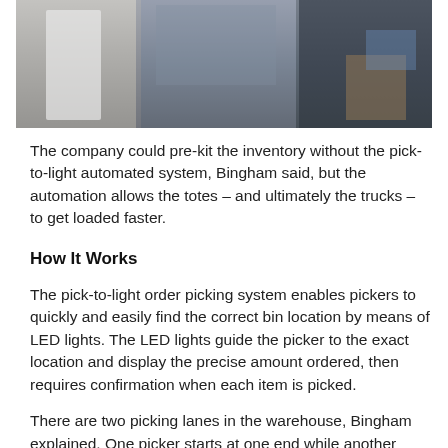[Figure (photo): Warehouse scene with workers and boxes/inventory visible, partially cropped at top of page]
The company could pre-kit the inventory without the pick-to-light automated system, Bingham said, but the automation allows the totes – and ultimately the trucks – to get loaded faster.
How It Works
The pick-to-light order picking system enables pickers to quickly and easily find the correct bin location by means of LED lights. The LED lights guide the picker to the exact location and display the precise amount ordered, then requires confirmation when each item is picked.
There are two picking lanes in the warehouse, Bingham explained. One picker starts at one end while another picker starts at the opposite end, each filling totes along the lane. In the beverage area, the picker fills four orders at a time. In the snack and food